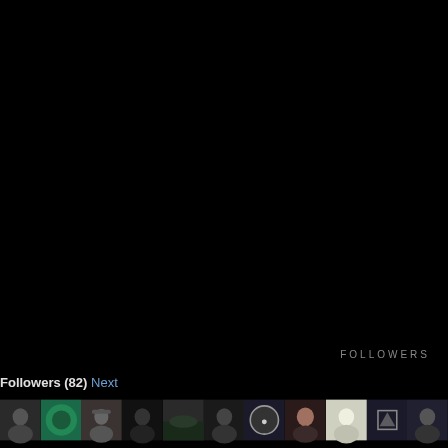FOLLOWERS
Followers (82) Next
[Figure (photo): Row of social media follower avatar thumbnails at the bottom of a dark/black page. Labels: Followers (82) Next, with a FOLLOWERS heading on the right side.]